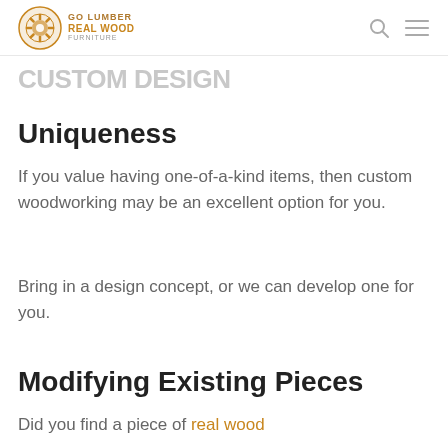Go Lumber Real Wood Furniture — navigation header with logo, search icon, and menu icon
CUSTOM DESIGN
Uniqueness
If you value having one-of-a-kind items, then custom woodworking may be an excellent option for you.
Bring in a design concept, or we can develop one for you.
Modifying Existing Pieces
Did you find a piece of real wood